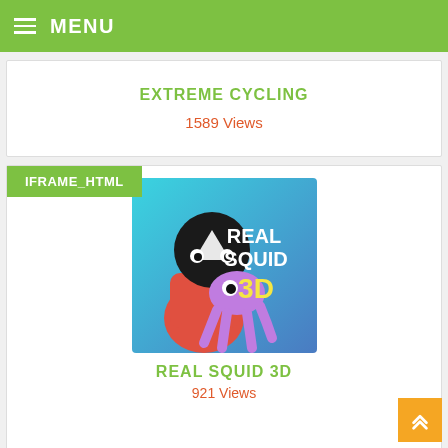MENU
EXTREME CYCLING
1589 Views
IFRAME_HTML
[Figure (illustration): Game thumbnail for Real Squid 3D showing a red-suited character with a squid head on a blue/teal gradient background with the text REAL SQUID 3D]
REAL SQUID 3D
921 Views